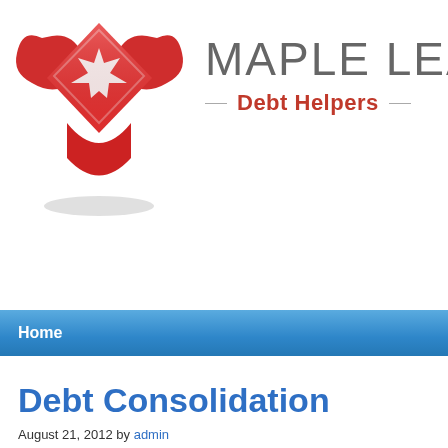[Figure (logo): Maple Leaf Debt Helpers logo: red diamond shape with Canadian maple leaf and hands, beside the text MAPLE LEAF in grey and Debt Helpers in red]
Home
Debt Consolidation
August 21, 2012 by admin